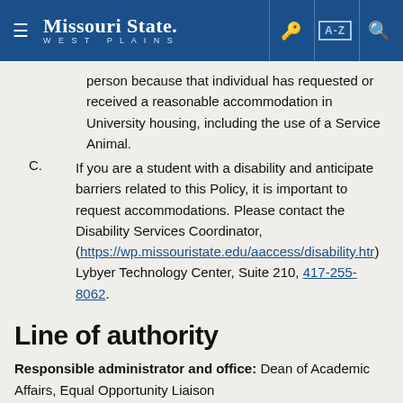Missouri State West Plains
person because that individual has requested or received a reasonable accommodation in University housing, including the use of a Service Animal.
C. If you are a student with a disability and anticipate barriers related to this Policy, it is important to request accommodations. Please contact the Disability Services Coordinator, (https://wp.missouristate.edu/aaccess/disability.htm) Lybyer Technology Center, Suite 210, 417-255-8062.
Line of authority
Responsible administrator and office: Dean of Academic Affairs, Equal Opportunity Liaison